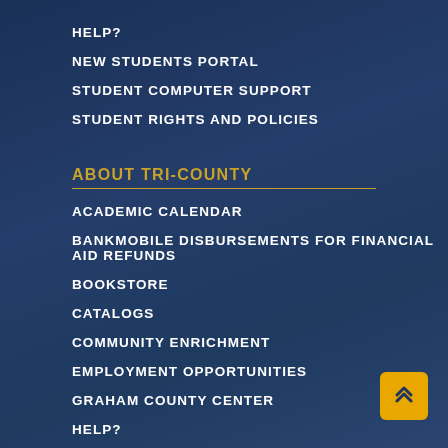HELP?
NEW STUDENTS PORTAL
STUDENT COMPUTER SUPPORT
STUDENT RIGHTS AND POLICIES
ABOUT TRI-COUNTY
ACADEMIC CALENDAR
BANKMOBILE DISBURSEMENTS FOR FINANCIAL AID REFUNDS
BOOKSTORE
CATALOGS
COMMUNITY ENRICHMENT
EMPLOYMENT OPPORTUNITIES
GRAHAM COUNTY CENTER
HELP?